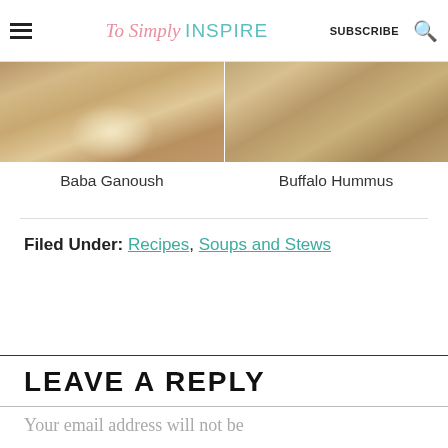To Simply INSPIRE | SUBSCRIBE
[Figure (photo): Two food photos side by side: left shows Baba Ganoush, right shows Buffalo Hummus]
Baba Ganoush
Buffalo Hummus
Filed Under: Recipes, Soups and Stews
LEAVE A REPLY
Your email address will not be